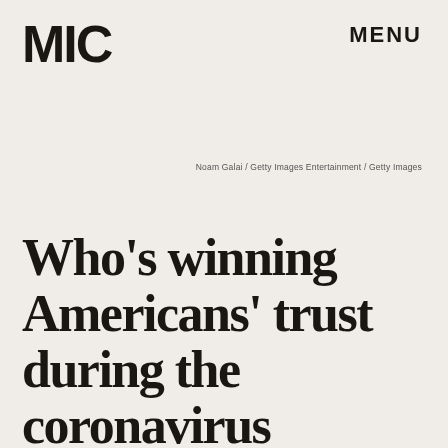MIC
MENU
Noam Galai/Getty Images Entertainment/Getty Images
Who's winning Americans' trust during the coronavirus pandemic?